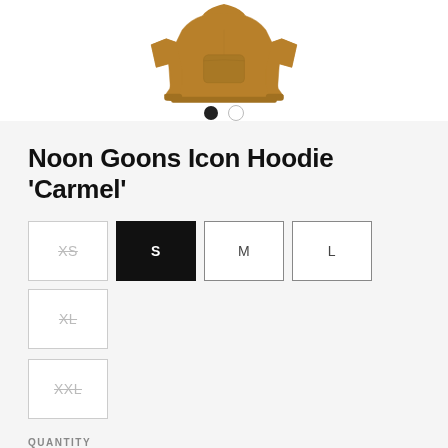[Figure (photo): Caramel/tan colored hoodie sweatshirt with front kangaroo pocket, ribbed cuffs and hem, photographed from front on white background]
Noon Goons Icon Hoodie 'Carmel'
XS (unavailable)
S (selected)
M (available)
L (available)
XL (unavailable)
XXL (unavailable)
QUANTITY